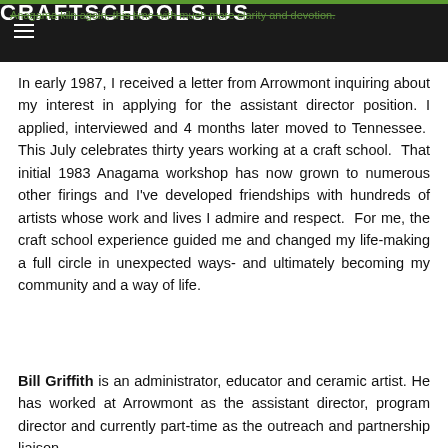CRAFTSCHOOLS.US
In early 1987, I received a letter from Arrowmont inquiring about my interest in applying for the assistant director position. I applied, interviewed and 4 months later moved to Tennessee. This July celebrates thirty years working at a craft school. That initial 1983 Anagama workshop has now grown to numerous other firings and I've developed friendships with hundreds of artists whose work and lives I admire and respect. For me, the craft school experience guided me and changed my life-making a full circle in unexpected ways- and ultimately becoming my community and a way of life.
Bill Griffith is an administrator, educator and ceramic artist. He has worked at Arrowmont as the assistant director, program director and currently part-time as the outreach and partnership liaison.